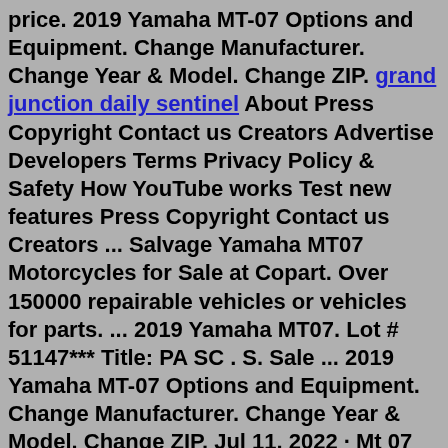price. 2019 Yamaha MT-07 Options and Equipment. Change Manufacturer. Change Year & Model. Change ZIP. grand junction daily sentinel About Press Copyright Contact us Creators Advertise Developers Terms Privacy Policy & Safety How YouTube works Test new features Press Copyright Contact us Creators ... Salvage Yamaha MT07 Motorcycles for Sale at Copart. Over 150000 repairable vehicles or vehicles for parts. ... 2019 Yamaha MT07. Lot # 51147*** Title: PA SC . S. Sale ... 2019 Yamaha MT-07 Options and Equipment. Change Manufacturer. Change Year & Model. Change ZIP. Jul 11, 2022 · Mt 07 for sale. 4,600 miles like New condition. Mostly highway miles to work. Ridden lightly. Not saying you can`t find a scuff somewhere on the bike but no dings, dents or scratches. Well maintained and fresh oil change ready to go. Sorry no joyrides but I will demonstrate the bike and functions if you would like. Too many bad experiences. Plenty of upgrades as well. Comfortable bike Research 2019 Yamaha MT-07 prices and sale